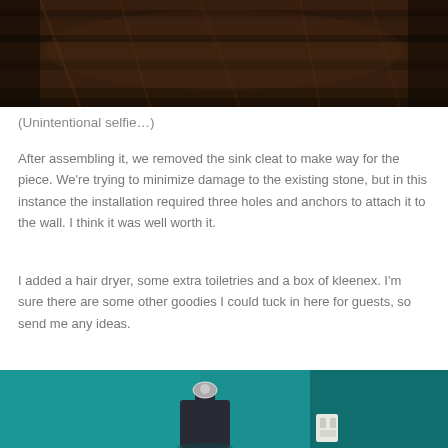[Figure (photo): Close-up photo of dark wood grain surface, appears to be a wooden floor or table top with rich brown tones.]
(Unintentional selfie…)
After assembling it, we removed the sink cleat to make way for the piece. We're trying to minimize damage to the existing stone, but in this instance the installation required three holes and anchors to attach it to the wall. I think it was well worth it.
I added a hair dryer, some extra toiletries and a box of kleenex. I'm sure there are some other goodies I could tuck in here for guests, so send me any ideas.
[Figure (photo): Photo of a bathroom with teal/turquoise walls, showing a dark metallic soap dispenser or perfume bottle with a silver pump top, and a white electrical outlet on the wall.]